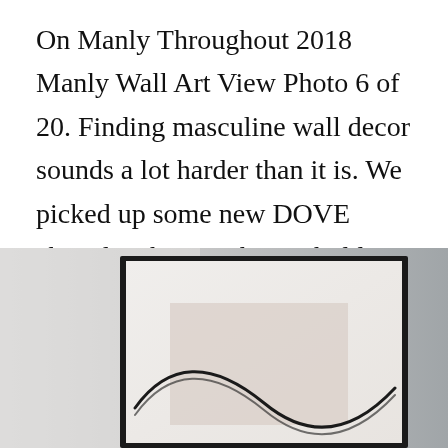On Manly Throughout 2018 Manly Wall Art View Photo 6 of 20. Finding masculine wall decor sounds a lot harder than it is. We picked up some new DOVE chocolate bars with new bold flavors. Magical meaningful items you cant find anywhere else.
[Figure (photo): A framed minimalist wall art print showing a dark curved wave or sine-like line on a light background with a pinkish/beige square behind it, displayed against a gray gradient wall.]